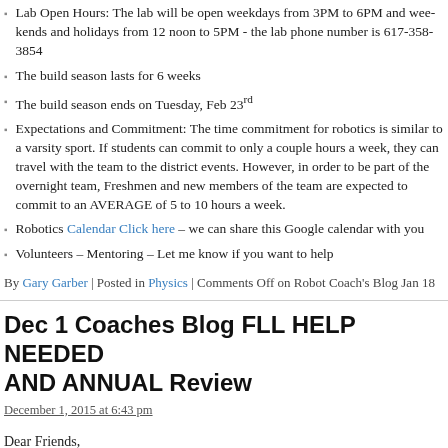Lab Open Hours: The lab will be open weekdays from 3PM to 6PM and weekends and holidays from 12 noon to 5PM - the lab phone number is 617-358-3854
The build season lasts for 6 weeks
The build season ends on Tuesday, Feb 23rd
Expectations and Commitment: The time commitment for robotics is similar to a varsity sport. If students can commit to only a couple hours a week, they can travel with the team to the district events. However, in order to be part of the overnight team, Freshmen and new members of the team are expected to commit to an AVERAGE of 5 to 10 hours a week.
Robotics Calendar Click here – we can share this Google calendar with you
Volunteers – Mentoring – Let me know if you want to help
By Gary Garber | Posted in Physics | Comments Off on Robot Coach's Blog Jan 18
Dec 1 Coaches Blog FLL HELP NEEDED AND ANNUAL Review
December 1, 2015 at 6:43 pm
Dear Friends,
Annual Review: I wanted to share with you the highlights of the previous season